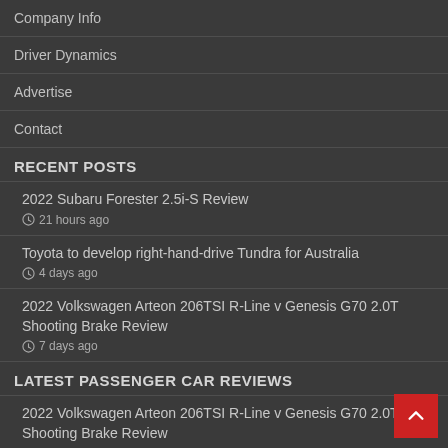Company Info
Driver Dynamics
Advertise
Contact
RECENT POSTS
2022 Subaru Forester 2.5i-S Review
21 hours ago
Toyota to develop right-hand-drive Tundra for Australia
4 days ago
2022 Volkswagen Arteon 206TSI R-Line v Genesis G70 2.0T Shooting Brake Review
7 days ago
LATEST PASSENGER CAR REVIEWS
2022 Volkswagen Arteon 206TSI R-Line v Genesis G70 2.0T Shooting Brake Review